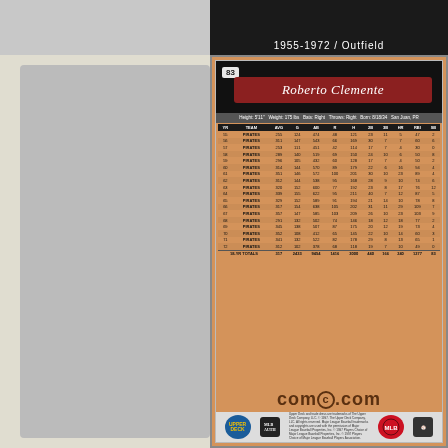1955-1972 / Outfield
83 Roberto Clemente
Height: 5'11" Weight: 175 lbs Bats: Right Throws: Right Born: 8/18/34 San Juan, PR
| YR | TEAM | AVG | G | AB | R | H | 2B | 3B | HR | RBI | SB |
| --- | --- | --- | --- | --- | --- | --- | --- | --- | --- | --- | --- |
| 55 | PIRATES | 255 | 124 | 474 | 48 | 121 | 23 | 11 | 5 | 47 | 2 |
| 56 | PIRATES | 311 | 147 | 543 | 66 | 169 | 30 | 7 | 7 | 60 | 6 |
| 57 | PIRATES | 253 | 111 | 451 | 42 | 114 | 17 | 7 | 4 | 30 | 0 |
| 58 | PIRATES | 289 | 140 | 519 | 69 | 150 | 24 | 10 | 6 | 50 | 8 |
| 59 | PIRATES | 296 | 105 | 432 | 60 | 128 | 17 | 7 | 4 | 50 | 2 |
| 60 | PIRATES | 314 | 144 | 570 | 89 | 179 | 22 | 6 | 16 | 94 | 4 |
| 61 | PIRATES | 351 | 146 | 572 | 100 | 201 | 30 | 10 | 23 | 89 | 4 |
| 62 | PIRATES | 312 | 144 | 538 | 95 | 168 | 28 | 9 | 10 | 74 | 6 |
| 63 | PIRATES | 320 | 152 | 600 | 77 | 192 | 23 | 8 | 17 | 76 | 12 |
| 64 | PIRATES | 339 | 155 | 622 | 95 | 211 | 40 | 7 | 12 | 87 | 5 |
| 65 | PIRATES | 329 | 152 | 589 | 91 | 194 | 21 | 14 | 10 | 78 | 8 |
| 66 | PIRATES | 317 | 154 | 638 | 105 | 202 | 31 | 11 | 29 | 109 | 7 |
| 67 | PIRATES | 357 | 147 | 585 | 103 | 209 | 26 | 10 | 23 | 103 | 9 |
| 68 | PIRATES | 291 | 132 | 502 | 74 | 146 | 18 | 12 | 18 | 57 | 2 |
| 69 | PIRATES | 345 | 138 | 507 | 87 | 175 | 20 | 12 | 19 | 91 | 4 |
| 70 | PIRATES | 352 | 108 | 412 | 65 | 145 | 22 | 10 | 14 | 60 | 3 |
| 71 | PIRATES | 341 | 132 | 522 | 82 | 178 | 29 | 8 | 13 | 65 | 1 |
| 72 | PIRATES | 312 | 102 | 378 | 68 | 118 | 19 | 7 | 10 | 49 | 0 |
| 18-YR TOTALS |  | 317 | 2433 | 9454 | 1416 | 3000 | 440 | 166 | 240 | 1277 | 83 |
[Figure (logo): COMC.com logo]
[Figure (logo): Upper Deck, MLB, and other logos at bottom of card]